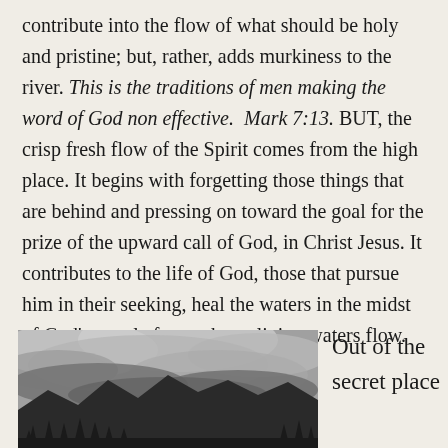contribute into the flow of what should be holy and pristine; but, rather, adds murkiness to the river. This is the traditions of men making the word of God non effective. Mark 7:13. BUT, the crisp fresh flow of the Spirit comes from the high place. It begins with forgetting those things that are behind and pressing on toward the goal for the prize of the upward call of God, in Christ Jesus. It contributes to the life of God, those that pursue him in their seeking, heal the waters in the midst of God’s people from whom living waters flow.
[Figure (photo): Black and white photograph of a mountain landscape with dramatic storm clouds overhead and dark silhouetted mountains and trees in the foreground.]
Out of the secret place